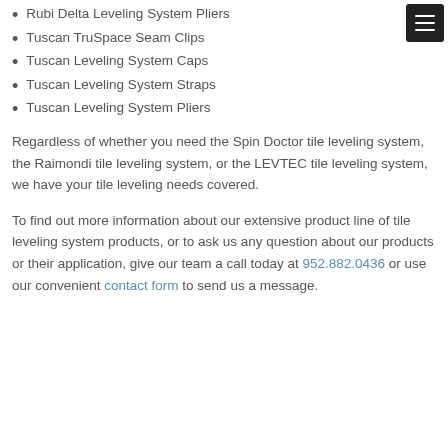Rubi Delta Leveling System Pliers
Tuscan TruSpace Seam Clips
Tuscan Leveling System Caps
Tuscan Leveling System Straps
Tuscan Leveling System Pliers
Regardless of whether you need the Spin Doctor tile leveling system, the Raimondi tile leveling system, or the LEVTEC tile leveling system, we have your tile leveling needs covered.
To find out more information about our extensive product line of tile leveling system products, or to ask us any question about our products or their application, give our team a call today at 952.882.0436 or use our convenient contact form to send us a message.